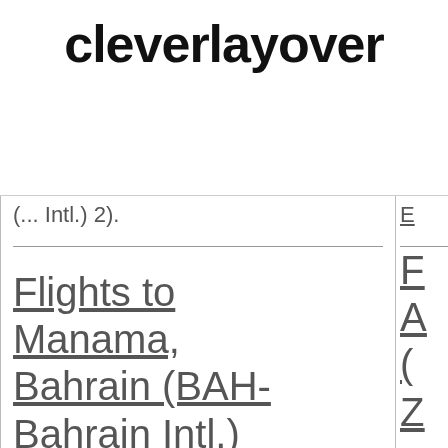cleverlayover
(... Intl.) 2)
Flights to Manama, Bahrain (BAH-Bahrain Intl.)